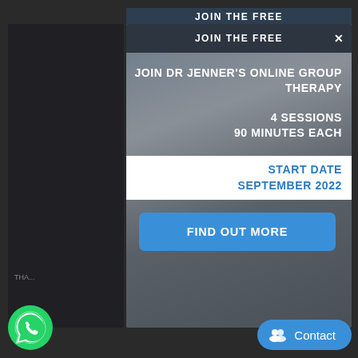JOIN THE FREE
JOIN DR JENNER'S ONLINE GROUP THERAPY
4 SESSIONS
90 MINUTES EACH
START DATE
SEPTEMBER 2022
FIND OUT MORE
Contact